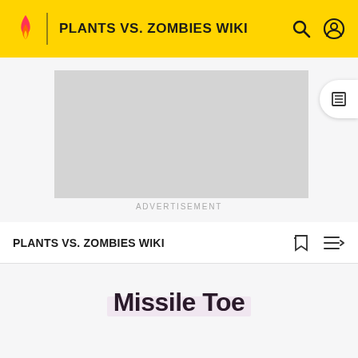PLANTS VS. ZOMBIES WIKI
[Figure (other): Advertisement placeholder gray box]
ADVERTISEMENT
PLANTS VS. ZOMBIES WIKI
Missile Toe